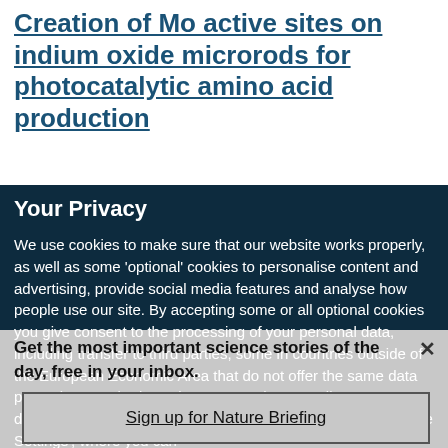Creation of Mo active sites on indium oxide microrods for photocatalytic amino acid production
Your Privacy
We use cookies to make sure that our website works properly, as well as some 'optional' cookies to personalise content and advertising, provide social media features and analyse how people use our site. By accepting some or all optional cookies you give consent to the processing of your personal data, including transfer to third parties, some in countries outside of the European Economic Area that do not offer the same data protection standards as the country where you live. You can decide which optional cookies to accept by clicking on 'Manage Settings', where you can
Get the most important science stories of the day, free in your inbox.
Sign up for Nature Briefing